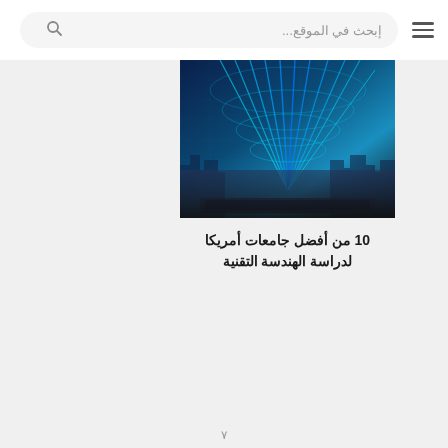إبحث في الموقع...
[Figure (photo): Technology/engineering themed image showing a laptop with digital cityscape and glowing blue digital fan/network structure overlaying a city skyline]
10 من أفضل جامعات أمريكا لدراسة الهندسة التقنية
٧